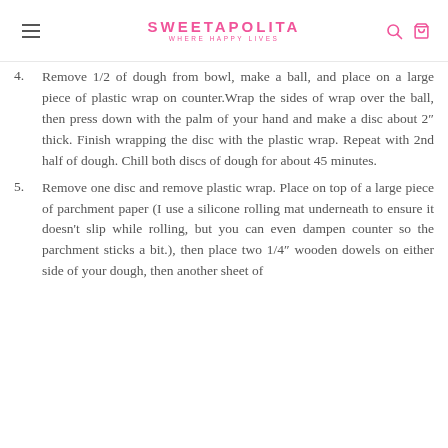SWEETAPOLITA — WHERE HAPPY LIVES
4. Remove 1/2 of dough from bowl, make a ball, and place on a large piece of plastic wrap on counter. Wrap the sides of wrap over the ball, then press down with the palm of your hand and make a disc about 2″ thick. Finish wrapping the disc with the plastic wrap. Repeat with 2nd half of dough. Chill both discs of dough for about 45 minutes.
5. Remove one disc and remove plastic wrap. Place on top of a large piece of parchment paper (I use a silicone rolling mat underneath to ensure it doesn't slip while rolling, but you can even dampen counter so the parchment sticks a bit.), then place two 1/4″ wooden dowels on either side of your dough, then another sheet of